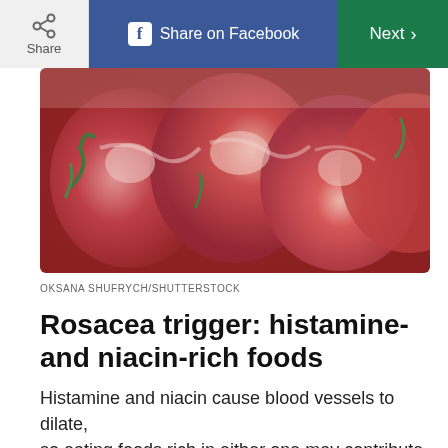Share | Share on Facebook | Next >
[Figure (photo): Close-up photo of cured meats (salami slices) with herbs, reddish-pink tones]
OKSANA SHUFRYCH/SHUTTERSTOCK
Rosacea trigger: histamine- and niacin-rich foods
Histamine and niacin cause blood vessels to dilate, so eating foods rich in either one may contribute to a rosacea flare-up. Such foods include fermented alcoholic beverages and foods, cured meats, sour foods, dried fruits, citrus, aged cheeses,